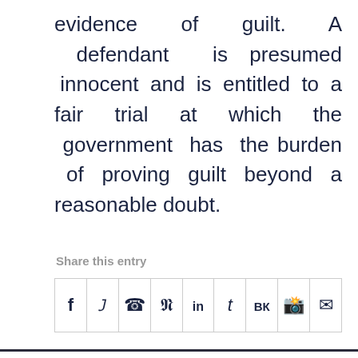evidence of guilt. A defendant is presumed innocent and is entitled to a fair trial at which the government has the burden of proving guilt beyond a reasonable doubt.
Share this entry
[Figure (other): Social sharing icons row: Facebook (f), Twitter (bird/y), WhatsApp (phone), Pinterest (P), LinkedIn (in), Tumblr (t), VK (VK), Reddit (alien), Email (envelope)]